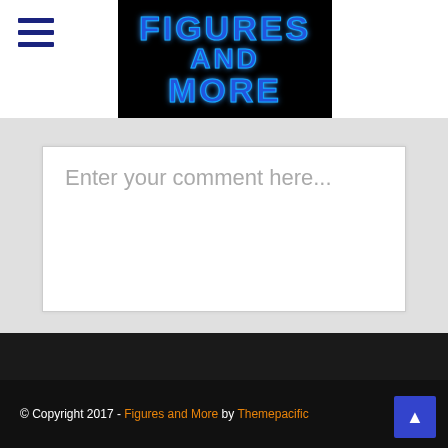[Figure (logo): Figures and More website logo — black background with blue neon-style text reading FIGURES AND MORE]
Enter your comment here...
© Copyright 2017 - Figures and More by Themepacific